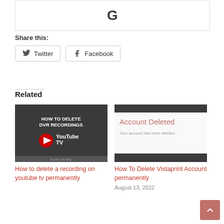[Figure (other): Google G logo advertisement banner]
Share this:
Twitter
Facebook
Related
[Figure (screenshot): YouTube TV thumbnail showing 'How to delete DVR recordings' with YouTube TV logo and play button]
How to delete a recording on youtube tv permanently
[Figure (screenshot): Account Deleted page screenshot showing 'Account Deleted' heading and 'Your account has been deleted.' message, with a dark bar above and below]
How To Delete Vistaprint Account permanently
August 13, 2022